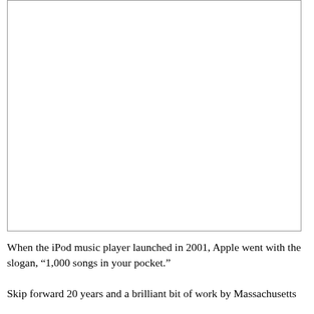[Figure (other): A blank white rectangular image placeholder with a thin border]
When the iPod music player launched in 2001, Apple went with the slogan, “1,000 songs in your pocket.”
Skip forward 20 years and a brilliant bit of work by Massachusetts